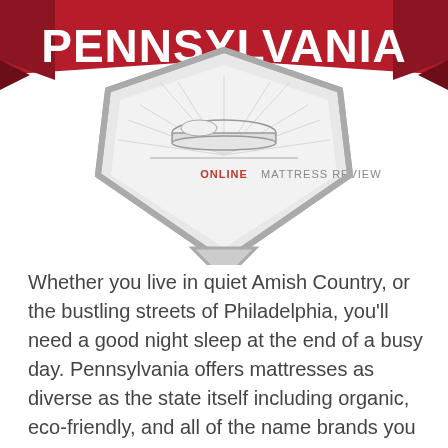[Figure (logo): Pennsylvania badge/shield logo with red ribbon banner reading PENNSYLVANIA and a shield containing Online Mattress Review branding with a mattress illustration and sunburst design]
Whether you live in quiet Amish Country, or the bustling streets of Philadelphia, you'll need a good night sleep at the end of a busy day. Pennsylvania offers mattresses as diverse as the state itself including organic, eco-friendly, and all of the name brands you have come to recognize. We spend ? of our lives on our mattresses, so purchasing the right fit is a big